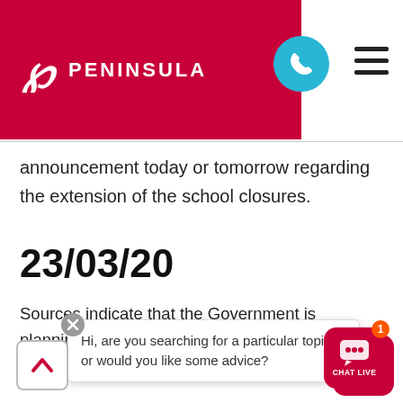PENINSULA
announcement today or tomorrow regarding the extension of the school closures.
23/03/20
Sources indicate that the Government is planning to follow other European countries by providing substantial [financial support to those] who have [been] laid-off a[nd] [to provide financial as]sis[tance with the] an[nou]ncement...